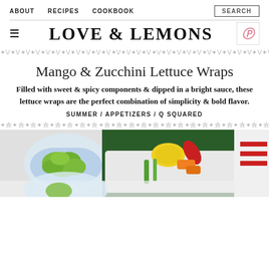ABOUT  RECIPES  COOKBOOK  SEARCH
LOVE & LEMONS
❖V❖V❖V❖V❖V❖V❖V❖V❖V❖V❖V❖V❖V❖V❖V❖V❖V❖V❖V❖V❖V❖V❖V❖V
Mango & Zucchini Lettuce Wraps
Filled with sweet & spicy components & dipped in a bright sauce, these lettuce wraps are the perfect combination of simplicity & bold flavor.
SUMMER / APPETIZERS / Q SQUARED
[Figure (photo): Food photo showing bowls with green edamame, colorful vegetables including yellow peppers and red chilies, and other fresh ingredients arranged on a table.]